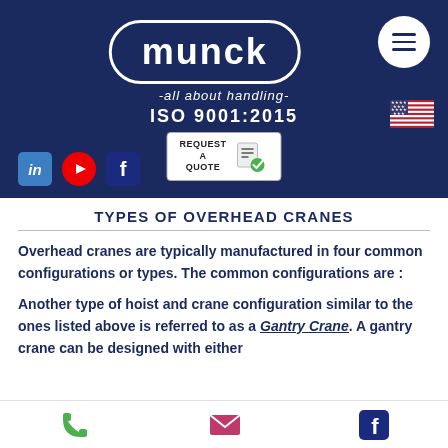[Figure (logo): Munck logo with tagline '-all about handling-', ISO 9001:2015 certification, menu hamburger icon, US flag, Request a Quote button, and LinkedIn/YouTube/Facebook social icons on dark navy blue background]
TYPES OF OVERHEAD CRANES
Overhead cranes are typically manufactured in four common configurations or types. The common configurations are :
Another type of hoist and crane configuration similar to the ones listed above is referred to as a Gantry Crane. A gantry crane can be designed with either...
[Figure (infographic): Bottom navigation bar with phone, email, and Facebook icons]